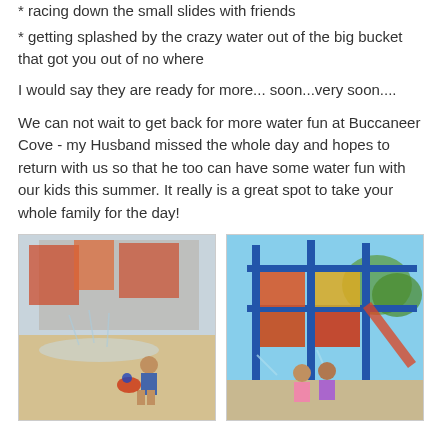* racing down the small slides with friends
* getting splashed by the crazy water out of the big bucket that got you out of no where
I would say they are ready for more... soon...very soon....
We can not wait to get back for more water fun at Buccaneer Cove - my Husband missed the whole day and hopes to return with us so that he too can have some water fun with our kids this summer. It really is a great spot to take your whole family for the day!
[Figure (photo): Child playing at a water park spray area with colorful play structures]
[Figure (photo): Girls at Buccaneer Cove water park with colorful blue and red play structures and water spraying]